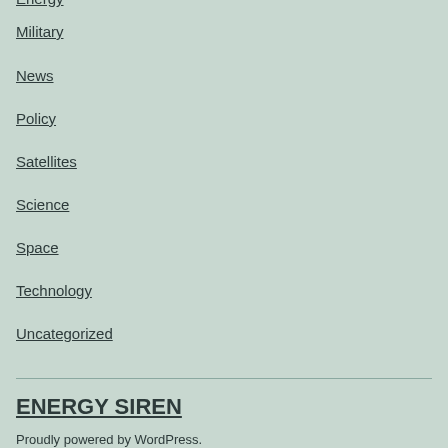Energy
Military
News
Policy
Satellites
Science
Space
Technology
Uncategorized
ENERGY SIREN
Proudly powered by WordPress.